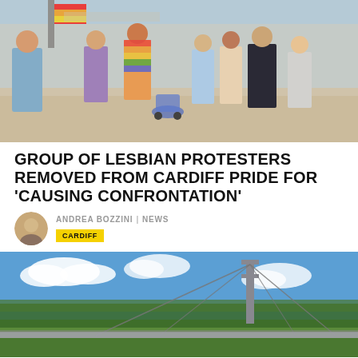[Figure (photo): Crowd of people marching in a Pride parade on a sunny day, colorful rainbow flags and festive clothing visible, street scene with shops in background]
GROUP OF LESBIAN PROTESTERS REMOVED FROM CARDIFF PRIDE FOR 'CAUSING CONFRONTATION'
ANDREA BOZZINI | NEWS
CARDIFF
[Figure (photo): A suspension bridge over a green landscape under a blue sky with white clouds, trees in the background]